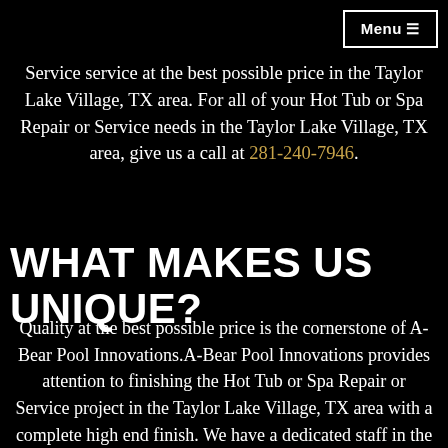Menu ≡
Service service at the best possible price in the Taylor Lake Village, TX area. For all of your Hot Tub or Spa Repair or Service needs in the Taylor Lake Village, TX area, give us a call at 281-240-7946.
WHAT MAKES US UNIQUE?
Quality at the best possible price is the cornerstone of A-Bear Pool Innovations.A-Bear Pool Innovations provides attention to finishing the Hot Tub or Spa Repair or Service project in the Taylor Lake Village, TX area with a complete high end finish. We have a dedicated staff in the Taylor Lake Village, TX area to assist with your Hot Tub or Spa Repair or Service needs. Let A-Bear Pool Innovations direct, organize,